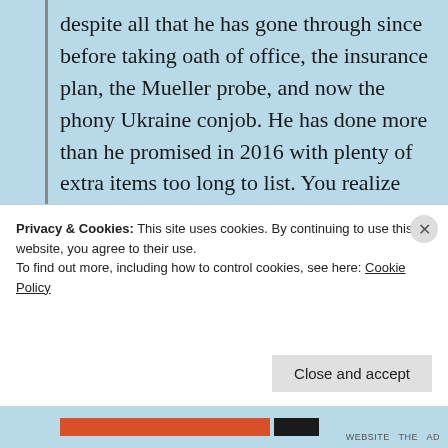despite all that he has gone through since before taking oath of office, the insurance plan, the Mueller probe, and now the phony Ukraine conjob. He has done more than he promised in 2016 with plenty of extra items too long to list. You realize he’s not about The Apprentice show. He was an international developer, golf course, and high rise builder for years. The apprentice was something he did for fun. The wall he
Privacy & Cookies: This site uses cookies. By continuing to use this website, you agree to their use.
To find out more, including how to control cookies, see here: Cookie Policy
Close and accept